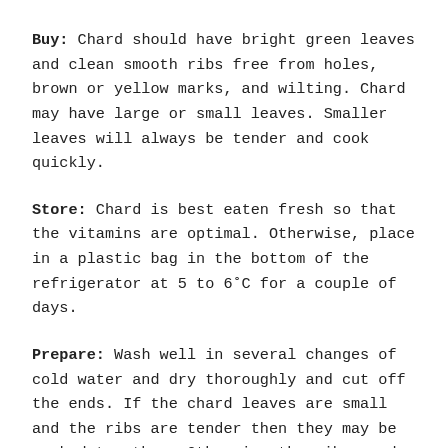Buy: Chard should have bright green leaves and clean smooth ribs free from holes, brown or yellow marks, and wilting. Chard may have large or small leaves. Smaller leaves will always be tender and cook quickly.
Store: Chard is best eaten fresh so that the vitamins are optimal. Otherwise, place in a plastic bag in the bottom of the refrigerator at 5 to 6°C for a couple of days.
Prepare: Wash well in several changes of cold water and dry thoroughly and cut off the ends. If the chard leaves are small and the ribs are tender then they may be cooked together. Otherwise the ribs need to be cut out of the leaf. If the ribs are very fibrous then the fibers need to be pulled out by snapping the end